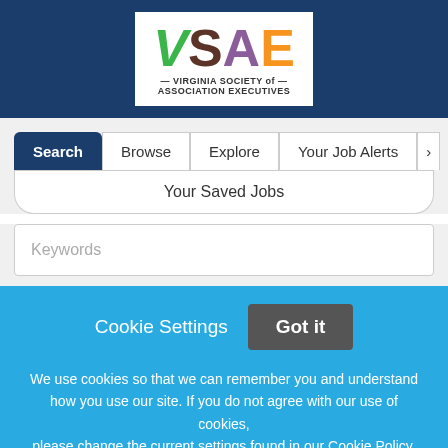[Figure (logo): VSAE - Virginia Society of Association Executives logo with colorful letters on white background in dark blue header]
Search | Browse | Explore | Your Job Alerts
Your Saved Jobs
Keywords
Cookie Settings   Got it
We use cookies so that we can remember you and understand how you use our site. If you do not agree with our use of cookies, please change the current settings found in our Cookie Policy. Otherwise, you agree to the use of the cookies as they are currently set.